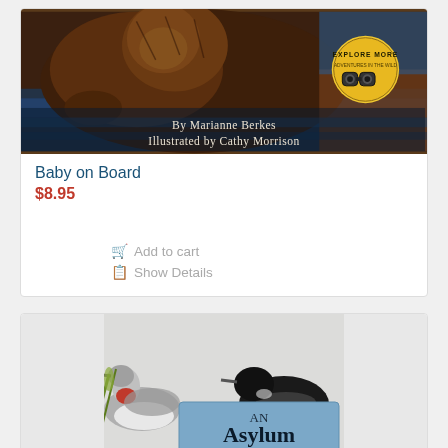[Figure (photo): Book cover of 'Baby on Board' showing a sea otter floating with text 'By Marianne Berkes, Illustrated by Cathy Morrison' and an 'Explore More' badge with binoculars]
Baby on Board
$8.95
Add to cart
Show Details
[Figure (photo): Book cover of 'An Asylum of...' showing loon birds and a blue sign with text 'An Asylum of' visible]